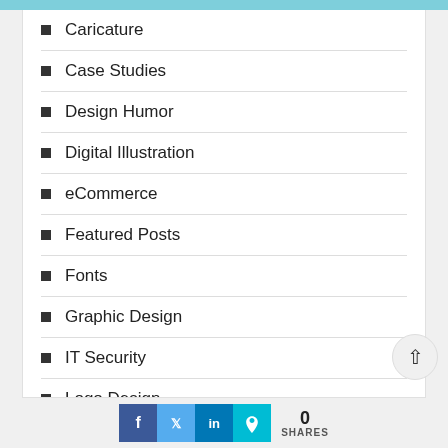Caricature
Case Studies
Design Humor
Digital Illustration
eCommerce
Featured Posts
Fonts
Graphic Design
IT Security
Logo Design
0 SHARES